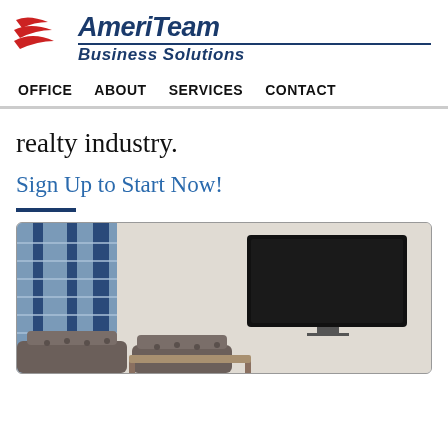[Figure (logo): AmeriTeam Business Solutions logo with red swoosh/flag icon on the left and bold italic blue text 'AmeriTeam Business Solutions' on the right with a blue underline]
OFFICE   ABOUT   SERVICES   CONTACT
realty industry.
Sign Up to Start Now!
[Figure (photo): Interior photo of a modern office waiting area or lobby with large windows, dark upholstered chairs/sofas, and a large flat-screen TV mounted on a beige wall]